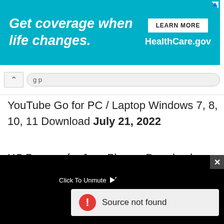[Figure (screenshot): Advertisement banner for HealthCare.gov with teal background. Text reads 'Get coverage when life changes.' with a 'LEARN MORE' button and 'HealthCare.gov' branding on the right.]
YouTube Go for PC / Laptop Windows 7, 8, 10, 11 Download July 21, 2022
UC Browser for Java Phones Download
[Figure (screenshot): Video player overlay with black background showing 'Click To Unmute' label and an error popup reading 'Source not found' with a red warning icon. A close (X) button appears in the top right corner.]